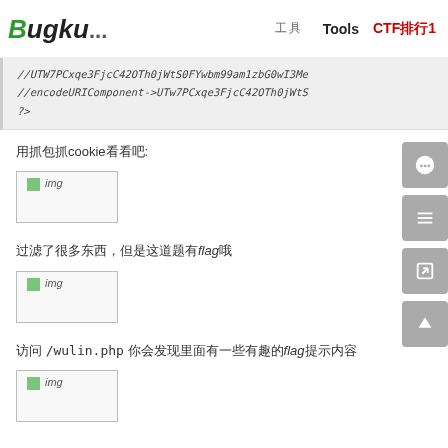Bugku... 工具 Tools CTF排行1
//UTW7PCxqe3FjcC42OTh0jWtS0FYwbm99am1zbG0wI3Me
//encodeURIComponent->UTw7PCxqe3FjcC42OTh0jWtS...
?>
用抓包抓cookie看看吧:
[Figure (screenshot): img placeholder - screenshot of cookie data]
过滤了很多东西，但是这道题有flag哦
[Figure (screenshot): img placeholder - screenshot of filtered content]
访问 /wulin.php 你会发现里面有一些有趣的flag提示内容
[Figure (screenshot): img placeholder - screenshot of wulin.php]